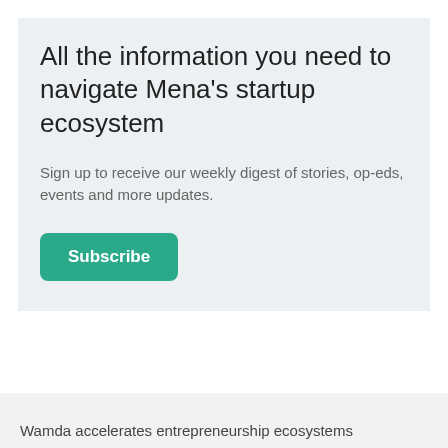All the information you need to navigate Mena’s startup ecosystem
Sign up to receive our weekly digest of stories, op-eds, events and more updates.
Subscribe
Wamda accelerates entrepreneurship ecosystems throughout the Mena region by joining Wamda’s multi-